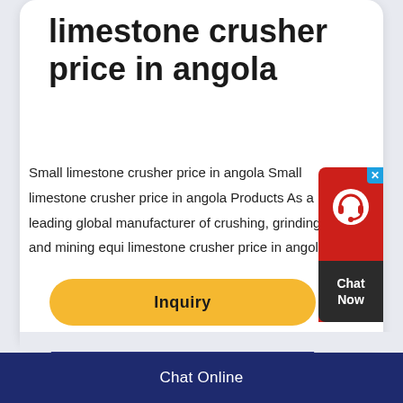limestone crusher price in angola
Small limestone crusher price in angola Small limestone crusher price in angola Products As a leading global manufacturer of crushing, grinding and mining equi limestone crusher price in angola
[Figure (other): Chat Now widget with headset icon, red background top section and dark bottom section with 'Chat Now' text, blue close button]
Inquiry
Request a Quote
Chat Online